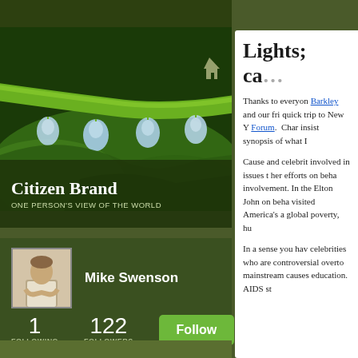[Figure (photo): Close-up photo of green plant stem with water droplets]
Citizen Brand
ONE PERSON'S VIEW OF THE WORLD
[Figure (photo): Profile photo of Mike Swenson, a man in a light shirt]
Mike Swenson
1 FOLLOWING
122 FOLLOWERS
Follow
Lights; ca
Thanks to everyon Barkley and our fri quick trip to New Y Forum. Char insist synopsis of what I
Cause and celebrit involved in issues t her efforts on beha involvement. In the Elton John on beha visited America's a global poverty, hu
In a sense you hav celebrities who are controversial overto mainstream causes education. AIDS st